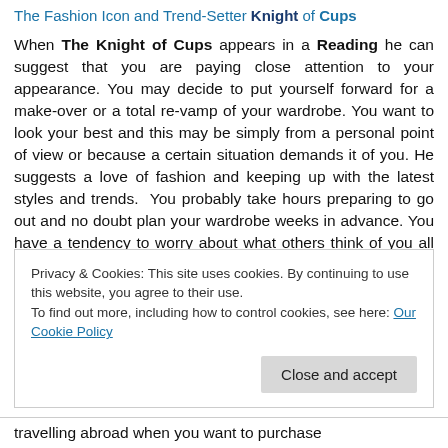The Fashion Icon and Trend-Setter Knight of Cups
When The Knight of Cups appears in a Reading he can suggest that you are paying close attention to your appearance. You may decide to put yourself forward for a make-over or a total re-vamp of your wardrobe. You want to look your best and this may be simply from a personal point of view or because a certain situation demands it of you. He suggests a love of fashion and keeping up with the latest styles and trends. You probably take hours preparing to go out and no doubt plan your wardrobe weeks in advance. You have a tendency to worry about what others think of you all the time and find it difficult and unsetting when you
Privacy & Cookies: This site uses cookies. By continuing to use this website, you agree to their use. To find out more, including how to control cookies, see here: Our Cookie Policy
travelling abroad when you want to purchase